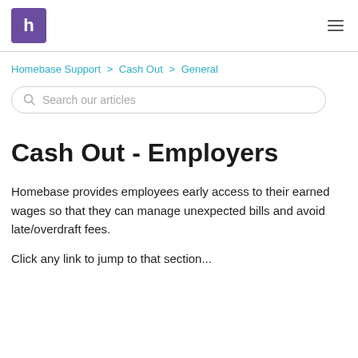h | ≡
Homebase Support > Cash Out > General
Search our articles
Cash Out - Employers
Homebase provides employees early access to their earned wages so that they can manage unexpected bills and avoid late/overdraft fees.
Click any link to jump to that section...